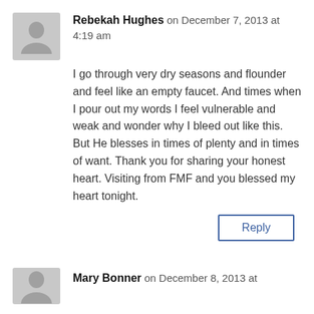Rebekah Hughes on December 7, 2013 at 4:19 am
I go through very dry seasons and flounder and feel like an empty faucet. And times when I pour out my words I feel vulnerable and weak and wonder why I bleed out like this. But He blesses in times of plenty and in times of want. Thank you for sharing your honest heart. Visiting from FMF and you blessed my heart tonight.
Reply
Mary Bonner on December 8, 2013 at